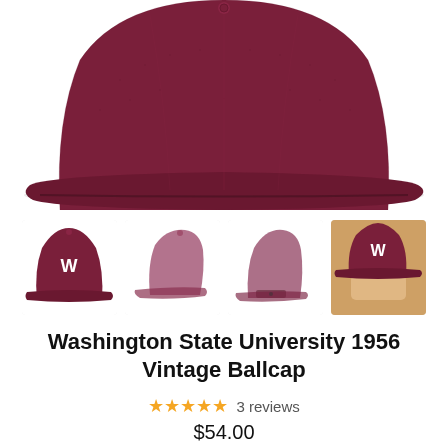[Figure (photo): Close-up of a dark maroon/burgundy wool baseball cap brim and crown against a white background]
[Figure (photo): Four thumbnail images of the Washington State University 1956 Vintage Ballcap: front view with W logo, side view, back view, and lifestyle photo being held]
Washington State University 1956 Vintage Ballcap
★★★★★ 3 reviews
$54.00